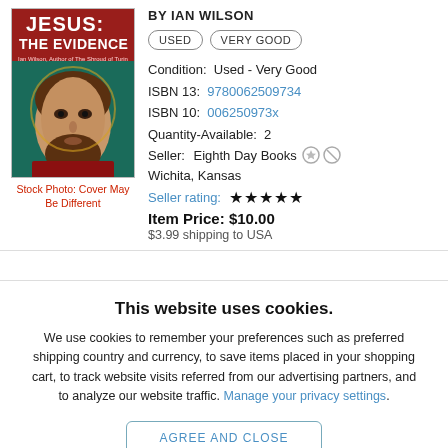[Figure (photo): Book cover of 'Jesus: The Evidence' by Ian Wilson, showing a Byzantine-style face illustration on a teal/dark green background with red title text]
Stock Photo: Cover May Be Different
BY IAN WILSON
USED   VERY GOOD
Condition:  Used - Very Good
ISBN 13:  9780062509734
ISBN 10:  006250973x
Quantity-Available:  2
Seller:  Eighth Day Books
Wichita, Kansas
Seller rating: ★★★★★
Item Price: $10.00
$3.99 shipping to USA
This website uses cookies.
We use cookies to remember your preferences such as preferred shipping country and currency, to save items placed in your shopping cart, to track website visits referred from our advertising partners, and to analyze our website traffic. Manage your privacy settings.
AGREE AND CLOSE